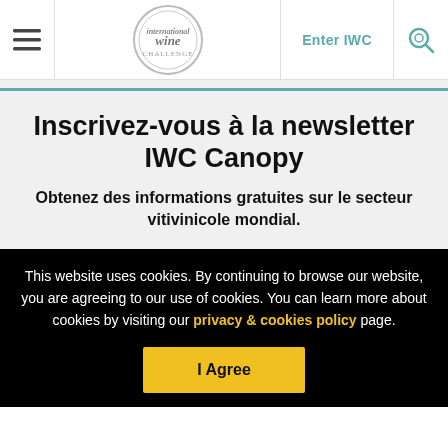Enter IWC
Inscrivez-vous à la newsletter IWC Canopy
Obtenez des informations gratuites sur le secteur vitivinicole mondial.
This website uses cookies. By continuing to browse our website, you are agreeing to our use of cookies. You can learn more about cookies by visiting our privacy & cookies policy page.
I Agree